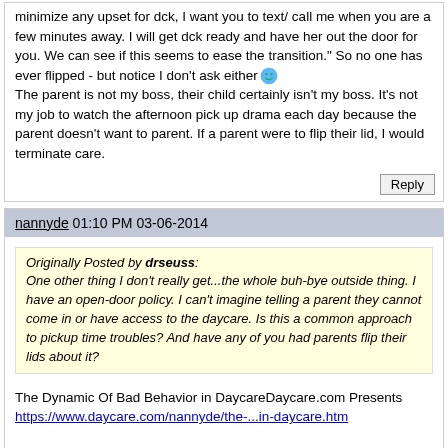minimize any upset for dck, I want you to text/ call me when you are a few minutes away. I will get dck ready and have her out the door for you. We can see if this seems to ease the transition." So no one has ever flipped - but notice I don't ask either
The parent is not my boss, their child certainly isn't my boss. It's not my job to watch the afternoon pick up drama each day because the parent doesn't want to parent. If a parent were to flip their lid, I would terminate care.
nannyde 01:10 PM 03-06-2014
Originally Posted by drseuss:
One other thing I don't really get...the whole buh-bye outside thing. I have an open-door policy. I can't imagine telling a parent they cannot come in or have access to the daycare. Is this a common approach to pickup time troubles? And have any of you had parents flip their lids about it?
The Dynamic Of Bad Behavior in DaycareDaycare.com Presents
https://www.daycare.com/nannyde/the-...in-daycare.htm

This is the article to explain the "buh bye outside" technique.

Welcome to Daycare.com